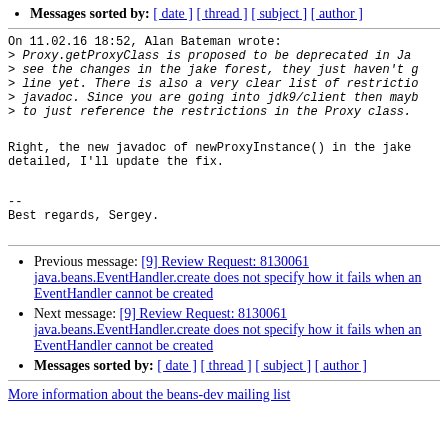Messages sorted by: [ date ] [ thread ] [ subject ] [ author ]
On 11.02.16 18:52, Alan Bateman wrote:
> Proxy.getProxyClass is proposed to be deprecated in Ja...
> see the changes in the jake forest, they just haven't g...
> line yet. There is also a very clear list of restrictio...
> javadoc. Since you are going into jdk9/client then mayb...
> to just reference the restrictions in the Proxy class.
Right, the new javadoc of newProxyInstance() in the jake...
detailed, I'll update the fix.
--
Best regards, Sergey.
Previous message: <Beans Dev> [9] Review Request: 8130061 java.beans.EventHandler.create does not specify how it fails when an EventHandler cannot be created
Next message: <Beans Dev> [9] Review Request: 8130061 java.beans.EventHandler.create does not specify how it fails when an EventHandler cannot be created
Messages sorted by: [ date ] [ thread ] [ subject ] [ author ]
More information about the beans-dev mailing list